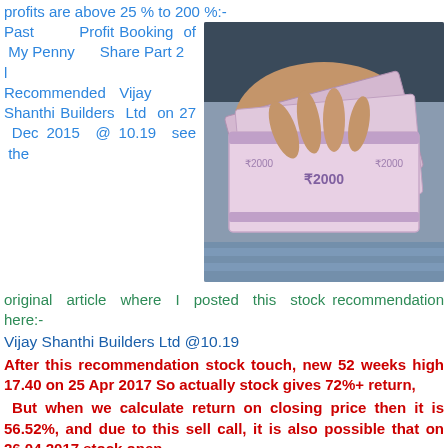profits are above 25 % to 200 %:-
Past Profit Booking of My Penny Share Part 2
l
Recommended Vijay Shanthi Builders Ltd on 27 Dec 2015 @ 10.19 see the original article where I posted this stock recommendation here:-
[Figure (photo): Photo of Indian currency notes (₹2000 denomination) being held by a hand]
Vijay Shanthi Builders Ltd @10.19
After this recommendation stock touch, new 52 weeks high 17.40 on 25 Apr 2017 So actually stock gives 72%+ return,
But when we calculate return on closing price then it is 56.52%, and due to this sell call, it is also possible that on 26.04.2017 stock open